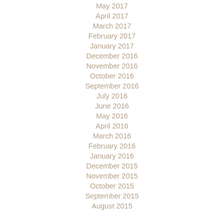May 2017
April 2017
March 2017
February 2017
January 2017
December 2016
November 2016
October 2016
September 2016
July 2016
June 2016
May 2016
April 2016
March 2016
February 2016
January 2016
December 2015
November 2015
October 2015
September 2015
August 2015